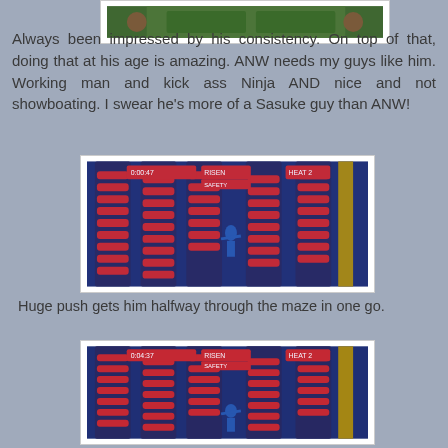[Figure (photo): Top portion of a photo showing a person outdoors near trees]
Always been impressed by his consistency. On top of that, doing that at his age is amazing. ANW needs my guys like him. Working man and kick ass Ninja AND nice and not showboating. I swear he's more of a Sasuke guy than ANW!
[Figure (photo): Screenshot of American Ninja Warrior obstacle course showing red and blue spinning tunnel maze obstacles, timer shows 0:00:47, Heat 2]
Huge push gets him halfway through the maze in one go.
[Figure (photo): Screenshot of American Ninja Warrior obstacle course showing red and blue spinning tunnel maze obstacles, timer shows 0:04:37, Heat 2]